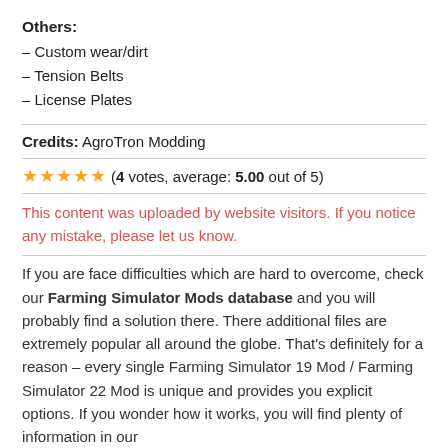Others:
– Custom wear/dirt
– Tension Belts
– License Plates
Credits: AgroTron Modding
(4 votes, average: 5.00 out of 5)
This content was uploaded by website visitors. If you notice any mistake, please let us know.
If you are face difficulties which are hard to overcome, check our Farming Simulator Mods database and you will probably find a solution there. There additional files are extremely popular all around the globe. That's definitely for a reason – every single Farming Simulator 19 Mod / Farming Simulator 22 Mod is unique and provides you explicit options. If you wonder how it works, you will find plenty of information in our